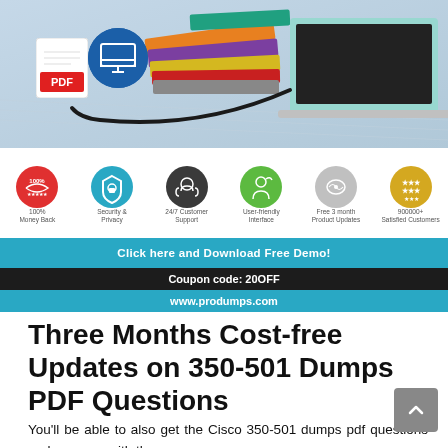[Figure (illustration): Banner image showing stacked colorful books connected by cable to a laptop, with PDF document icon and monitor icon badges in foreground, plus row of six feature icons below (100% Money Back, Security & Privacy, 24/7 Customer Support, User-friendly Interface, Free 3 month Product Updates, 900000+ Satisfied Customers), teal CTA bar, dark coupon bar, and teal URL bar]
Three Months Cost-free Updates on 350-501 Dumps PDF Questions
You'll be able to also get the Cisco 350-501 dumps pdf questions and answers with three